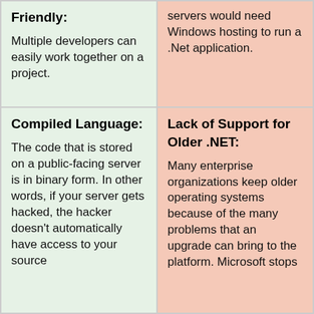| Pros | Cons |
| --- | --- |
| Friendly:
Multiple developers can easily work together on a project. | servers would need Windows hosting to run a .Net application. |
| Compiled Language:
The code that is stored on a public-facing server is in binary form. In other words, if your server gets hacked, the hacker doesn't automatically have access to your source | Lack of Support for Older .NET:
Many enterprise organizations keep older operating systems because of the many problems that an upgrade can bring to the platform. Microsoft stops |